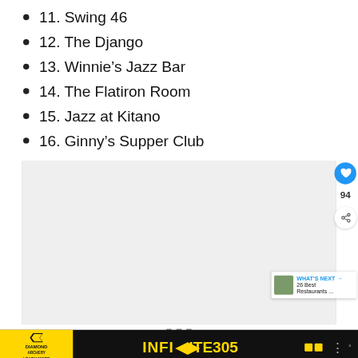11. Swing 46
12. The Django
13. Winnie’s Jazz Bar
14. The Flatiron Room
15. Jazz at Kitano
16. Ginny’s Supper Club
[Figure (photo): Image carousel with navigation dots, partially visible photo content]
WHAT’S NEXT → 26 Best Restaurants ...
[Figure (advertisement): Diamond Archery advertisement banner with INFINITE 305 bow]